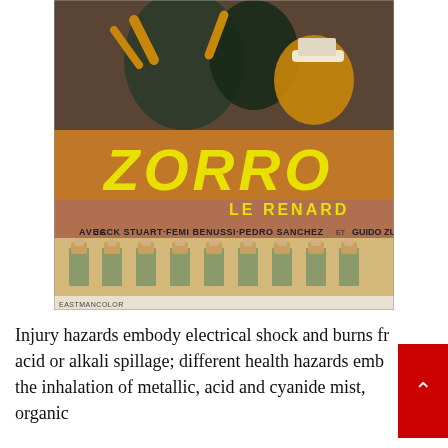[Figure (photo): Vintage French movie poster for 'Zorro Le Renard' featuring the title 'ZORRO' in large yellow letters and 'LE RENARD' below it. The poster shows action scenes with figures in capes and hats at the top, and a row of uniformed soldiers from behind at the bottom. Credits read: JACK STUART-FEMI BENUSSI-PEDRO SANCHEZ with GUIDO ZURLI. EASTMANCOLOR noted at bottom.]
Injury hazards embody electrical shock and burns from acid or alkali spillage; different health hazards embody the inhalation of metallic, acid and cyanide mist, organic